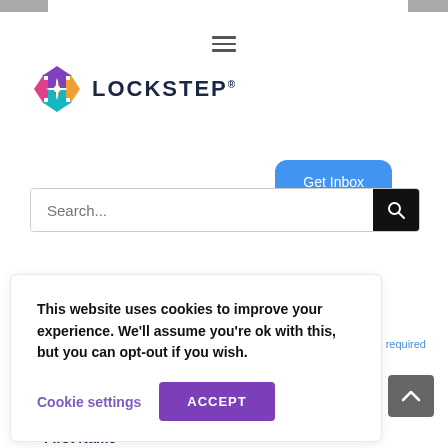[Figure (logo): Lockstep logo with colorful X icon and bold dark blue text LOCKSTEP with registered trademark]
Get Inbox
Search...
This website uses cookies to improve your experience. We'll assume you're ok with this, but you can opt-out if you wish.
Cookie settings
ACCEPT
indicates required
First Name *